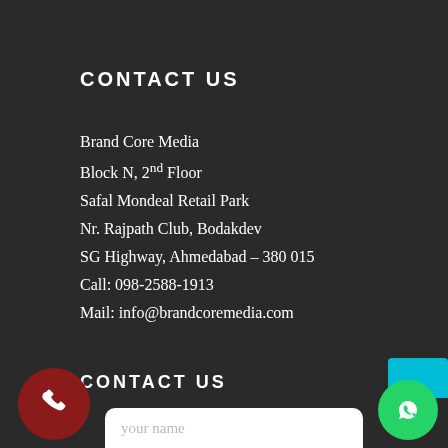CONTACT US
Brand Core Media
Block N, 2nd Floor
Safal Mondeal Retail Park
Nr. Rajpath Club, Bodakdev
SG Highway, Ahmedabad – 380 015
Call: 098-2588-1913
Mail: info@brandcoremedia.com
CONTACT US
[Figure (other): Dark red circular phone call button at bottom left, cyan/teal tab behind green WhatsApp circular button at bottom right, and a white rounded input field with placeholder 'your name' at bottom center]